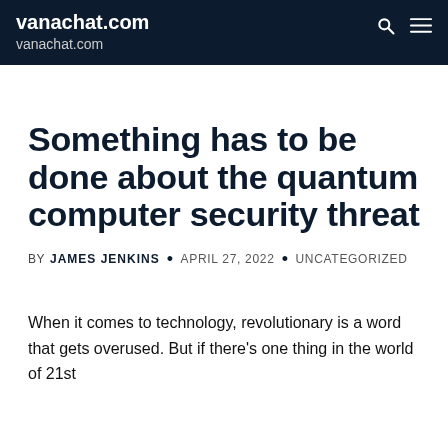vanachat.com
vanachat.com
Something has to be done about the quantum computer security threat
BY JAMES JENKINS • APRIL 27, 2022 • UNCATEGORIZED
When it comes to technology, revolutionary is a word that gets overused. But if there's one thing in the world of 21st